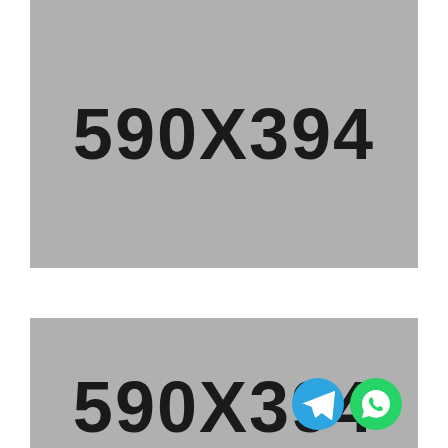[Figure (other): Gray placeholder image showing dimensions '590X394' in large bold black text]
[Figure (other): Second gray placeholder image partially visible, also showing '590X394' text, with Telegram and WhatsApp icons overlaid in bottom-right corner]